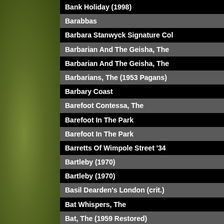Bank Holiday (1998)
Barabbas
Barbara Stanwyck Signature Col
Barbarian And The Geisha, The
Barbarian And The Geisha, The
Barbarians, The (1953 Pagans)
Barbary Coast
Barefoot Contessa, The
Barefoot In The Park
Barefoot In The Park
Barretts Of Wimpole Street '34
Bartleby (1970)
Bartleby (1970)
Basil Dearden's London (crit.)
Bat Whispers, The
Bat, The (1959 Restored)
Bat, The (1959)
Bat, The (1959)
Batman & Robin: Complete 1949
Batman: 1943 Serial Collection